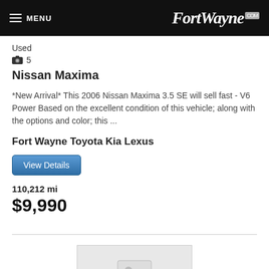MENU  FortWayne.com
Used
📷 5
Nissan Maxima
*New Arrival* This 2006 Nissan Maxima 3.5 SE will sell fast - V6 Power Based on the excellent condition of this vehicle; along with the options and color; this ...
Fort Wayne Toyota Kia Lexus
View Details
110,212 mi
$9,990
[Figure (photo): Image placeholder for a car listing photo]